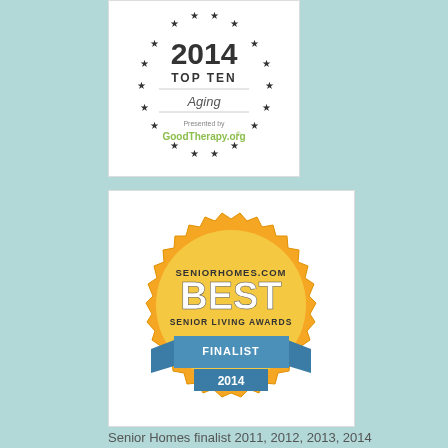[Figure (logo): GoodTherapy.org 2014 Top Ten Aging award badge with stars arranged in a circle on white background]
[Figure (logo): SeniorHomes.com Best Senior Living Awards Finalist 2014 gold seal badge with blue ribbon banner]
Senior Homes finalist 2011, 2012, 2013, 2014
Why This Bl...